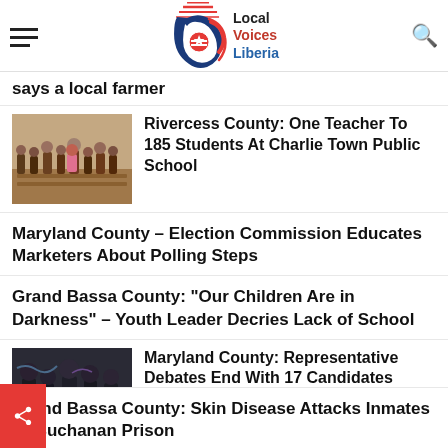Local Voices Liberia
says a local farmer
Rivercess County: One Teacher To 185 Students At Charlie Town Public School
Maryland County – Election Commission Educates Marketers About Polling Steps
Grand Bassa County: "Our Children Are in Darkness" – Youth Leader Decries Lack of School
Maryland County: Representative Debates End With 17 Candidates Failing to Attend
Grand Bassa County: Skin Disease Attacks Inmates At Buchanan Prison